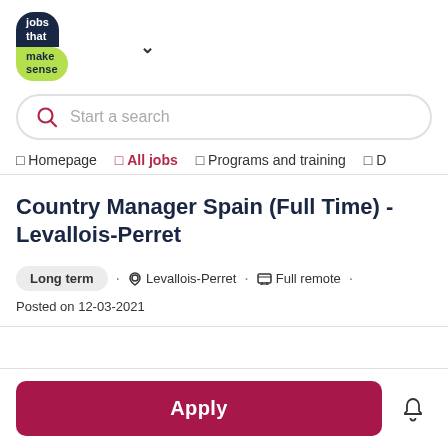[Figure (logo): Jobs That Make Sense logo — dark navy pill shape on top with white text 'jobs that', green pill shape on bottom with dark text 'make sense']
Start a search
Homepage · All jobs · Programs and training · D
Country Manager Spain (Full Time) - Levallois-Perret
Long term · Levallois-Perret · Full remote
Posted on 12-03-2021
Apply